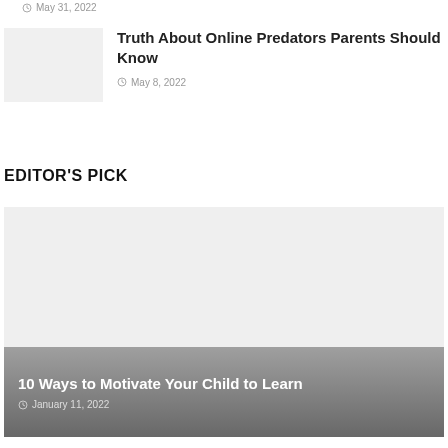May 31, 2022
[Figure (photo): Thumbnail image placeholder for article]
Truth About Online Predators Parents Should Know
May 8, 2022
EDITOR'S PICK
[Figure (photo): Large featured article image placeholder with gradient overlay]
10 Ways to Motivate Your Child to Learn
January 11, 2022